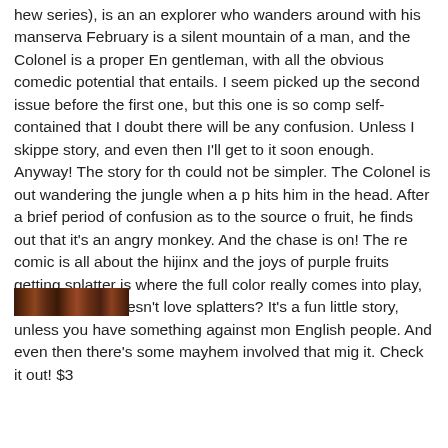hew series), is an an explorer who wanders around with his manserva February is a silent mountain of a man, and the Colonel is a proper En gentleman, with all the obvious comedic potential that entails. I seem picked up the second issue before the first one, but this one is so comp self-contained that I doubt there will be any confusion. Unless I skippe story, and even then I'll get to it soon enough. Anyway! The story for th could not be simpler. The Colonel is out wandering the jungle when a p hits him in the head. After a brief period of confusion as to the source o fruit, he finds out that it's an angry monkey. And the chase is on! The re comic is all about the hijinx and the joys of purple fruits getting splatter is where the full color really comes into play, because who doesn't love splatters? It's a fun little story, unless you have something against mon English people. And even then there's some mayhem involved that mig it. Check it out! $3
[Figure (photo): A narrow horizontal photograph or image strip, dark brownish tones, partially visible at the bottom of the text.]